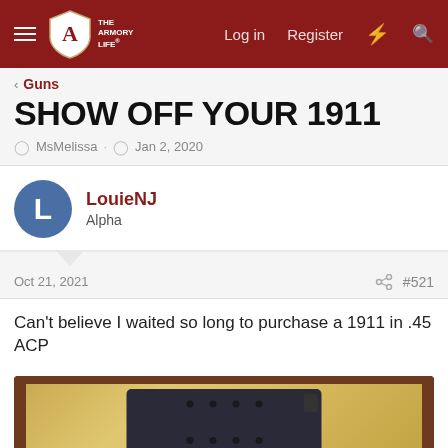The Armory Life — Log in  Register
< Guns
SHOW OFF YOUR 1911
MsMelissa · Jan 2, 2020
LouieNJ
Alpha
Oct 21, 2021  #521
Can't believe I waited so long to purchase a 1911 in .45 ACP
[Figure (photo): Photo of a 1911 magazine (.45 ACP) placed on a yellow cloth on a wooden surface]